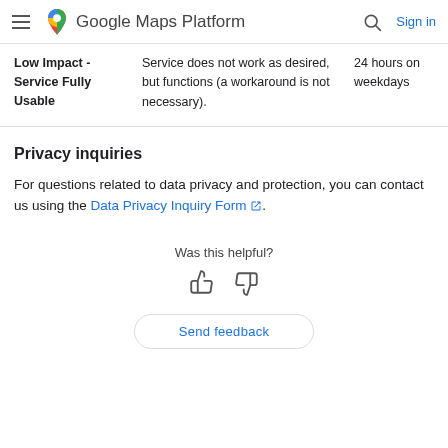Google Maps Platform
| Low Impact - Service Fully Usable | Service does not work as desired, but functions (a workaround is not necessary). | 24 hours on weekdays |
Privacy inquiries
For questions related to data privacy and protection, you can contact us using the Data Privacy Inquiry Form.
Was this helpful?
Send feedback